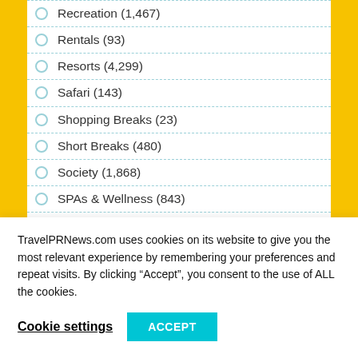Recreation (1,467)
Rentals (93)
Resorts (4,299)
Safari (143)
Shopping Breaks (23)
Short Breaks (480)
Society (1,868)
SPAs & Wellness (843)
Sports (828)
TravelPRNews.com uses cookies on its website to give you the most relevant experience by remembering your preferences and repeat visits. By clicking “Accept”, you consent to the use of ALL the cookies.
Cookie settings
ACCEPT